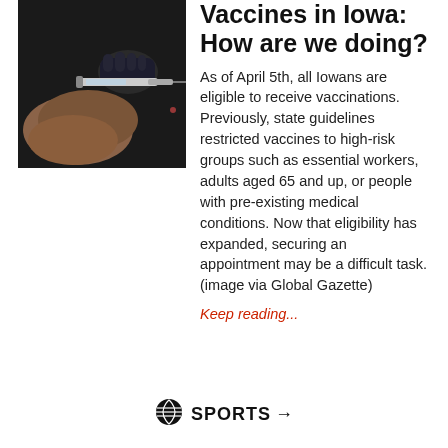[Figure (photo): Close-up photo of a medical professional administering a vaccine injection into a person's arm, dark background]
Vaccines in Iowa: How are we doing?
As of April 5th, all Iowans are eligible to receive vaccinations. Previously, state guidelines restricted vaccines to high-risk groups such as essential workers, adults aged 65 and up, or people with pre-existing medical conditions. Now that eligibility has expanded, securing an appointment may be a difficult task. (image via Global Gazette)
Keep reading...
SPORTS →